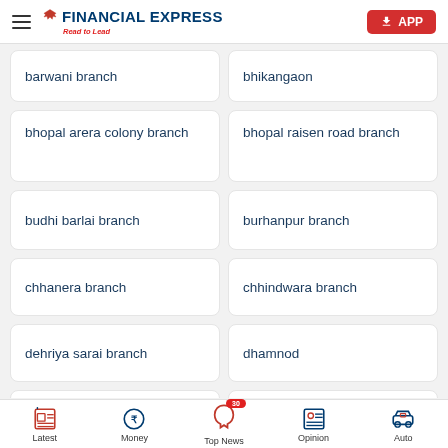Financial Express – Read to Lead | APP
barwani branch
bhikangaon
bhopal arera colony branch
bhopal raisen road branch
budhi barlai branch
burhanpur branch
chhanera branch
chhindwara branch
dehriya sarai branch
dhamnod
Latest | Money | Top News 30 | Opinion | Auto